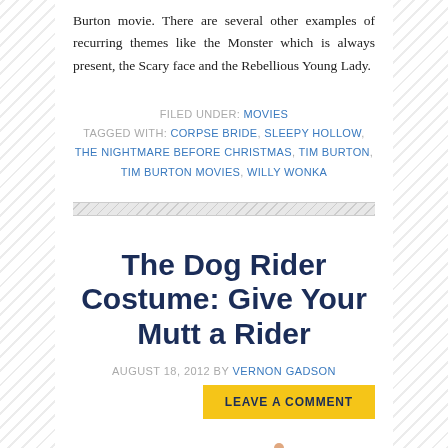Burton movie. There are several other examples of recurring themes like the Monster which is always present, the Scary face and the Rebellious Young Lady.
FILED UNDER: MOVIES
TAGGED WITH: CORPSE BRIDE, SLEEPY HOLLOW, THE NIGHTMARE BEFORE CHRISTMAS, TIM BURTON, TIM BURTON MOVIES, WILLY WONKA
The Dog Rider Costume: Give Your Mutt a Rider
AUGUST 18, 2012 BY VERNON GADSON
LEAVE A COMMENT
[Figure (illustration): Partial illustration of a dog costume figure at bottom of page]